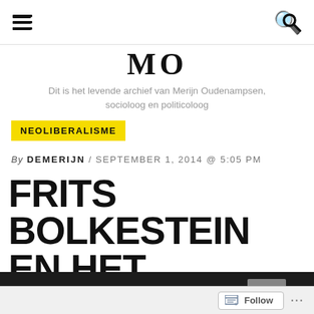MO – Dit is het levende archief van Merijn Oudenampsen, socioloog en politicoloog
MO
Dit is het levende archief van Merijn Oudenampsen, socioloog en politicoloog
NEOLIBERALISME
By DEMERIJN / SEPTEMBER 1, 2014 @ 5:05 PM
FRITS BOLKESTEIN EN HET NEOLIBERALISME
[Figure (photo): Dark photograph strip at bottom of article page showing partial image]
Follow